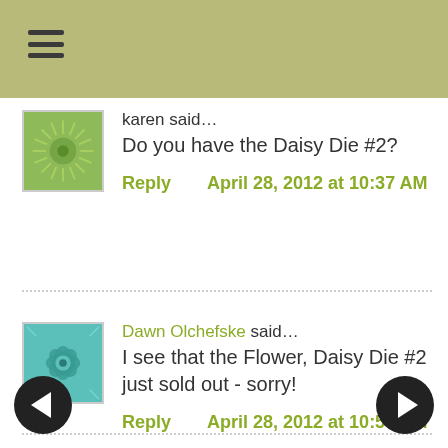≡ (menu icon)
karen said… Do you have the Daisy Die #2?
Reply   April 28, 2012 at 10:37 AM
Dawn Olchefske said… I see that the Flower, Daisy Die #2 just sold out - sorry!
Reply   April 28, 2012 at 10:50 AM